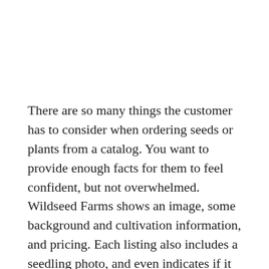There are so many things the customer has to consider when ordering seeds or plants from a catalog. You want to provide enough facts for them to feel confident, but not overwhelmed. Wildseed Farms shows an image, some background and cultivation information, and pricing. Each listing also includes a seedling photo, and even indicates if it helps pollinators like birds or butterflies.